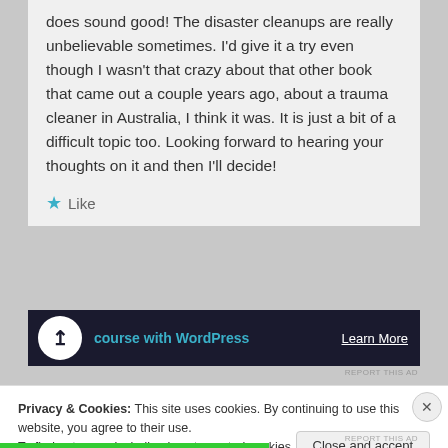does sound good! The disaster cleanups are really unbelievable sometimes. I'd give it a try even though I wasn't that crazy about that other book that came out a couple years ago, about a trauma cleaner in Australia, I think it was. It is just a bit of a difficult topic too. Looking forward to hearing your thoughts on it and then I'll decide!
★ Like
[Figure (screenshot): Dark advertisement banner for a WordPress course, with circular icon, teal text 'course with WordPress', and 'Learn More' link on the right]
REPORT THIS AD
Privacy & Cookies: This site uses cookies. By continuing to use this website, you agree to their use.
To find out more, including how to control cookies, see here: Cookie Policy
Close and accept